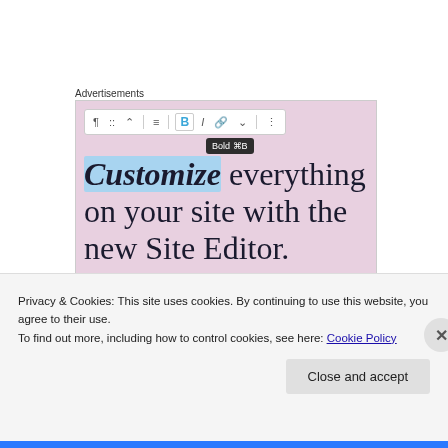Advertisements
[Figure (screenshot): Screenshot of a website editor interface showing a toolbar with bold, italic, link and other formatting buttons, a tooltip reading 'Bold ⌘B', and large text reading 'Customize everything on your site with the new Site Editor.' with a 'Start Today' button on a pink/lavender background.]
Privacy & Cookies: This site uses cookies. By continuing to use this website, you agree to their use.
To find out more, including how to control cookies, see here: Cookie Policy
Close and accept